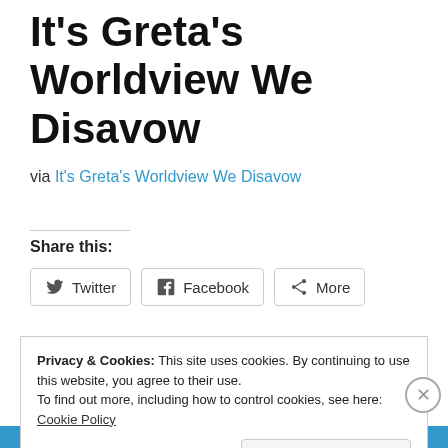It's Greta's Worldview We Disavow
via It's Greta's Worldview We Disavow
Share this:
Twitter  Facebook  More
Like  Jessie
One blogger likes this.
Privacy & Cookies: This site uses cookies. By continuing to use this website, you agree to their use. To find out more, including how to control cookies, see here: Cookie Policy
Close and accept